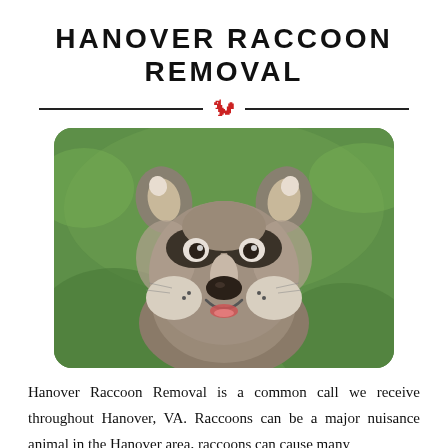HANOVER RACCOON REMOVAL
[Figure (photo): Close-up photo of a raccoon face looking forward against a green blurred background, with rounded rectangle frame.]
Hanover Raccoon Removal is a common call we receive throughout Hanover, VA. Raccoons can be a major nuisance animal in the Hanover area, raccoons can cause many